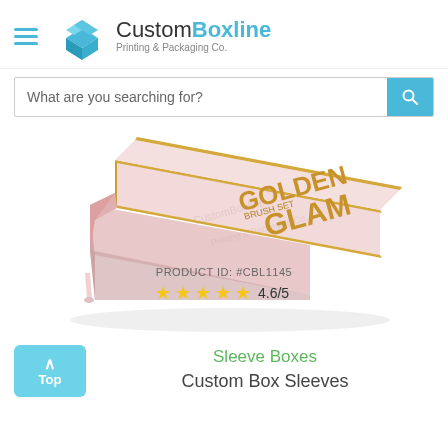[Figure (logo): CustomBoxline logo with teal box icon and text 'CustomBoxline Printing & Packaging Co.']
What are you searching for?
[Figure (photo): Pink drawer-style sleeve box with gold 'GOLDEN GLAM BRUSH SET' text on the sleeve, partially pulled out, with CustomBoxline watermark]
PRODUCT ID: #CBL1145
4.6/5
Sleeve Boxes
Custom Box Sleeves